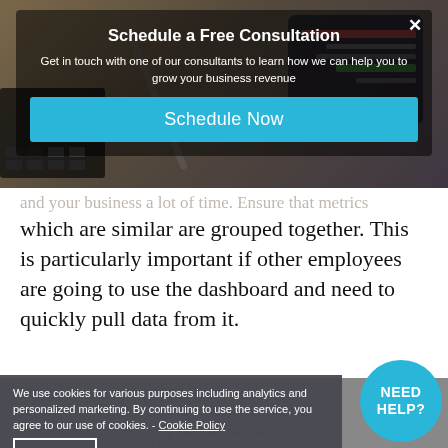[Figure (screenshot): Background photo of a calculator, tablet, and pen on a desk, partially visible behind a modal popup overlay.]
Schedule a Free Consultation
Get in touch with one of our consultants to learn how we can help you to grow your business revenue
Schedule Now
and your business a lot of time. Ensure that metrics which are similar are grouped together. This is particularly important if other employees are going to use the dashboard and need to quickly pull data from it.
You could choose to group your metrics by product, department, or marketing channel. Another way to group metrics is by giving them all releva... This can be done by adding text into your vi...
We use cookies for various purposes including analytics and personalized marketing. By continuing to use the service, you agree to our use of cookies. - Cookie Policy
I agree
NEED HELP?